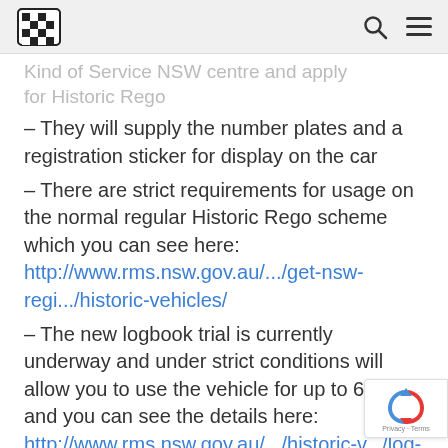[logo] [search icon] [menu icon]
Kind of Service NSW centre and apply for Historic Rego
– They will supply the number plates and a registration sticker for display on the car
– There are strict requirements for usage on the normal regular Historic Rego scheme which you can see here: http://www.rms.nsw.gov.au/.../get-nsw-regi.../historic-vehicles/
– The new logbook trial is currently underway and under strict conditions will allow you to use the vehicle for up to 60 days and you can see the details here: http://www.rms.nsw.gov.au/.../historic-v.../log-book-trial.html...